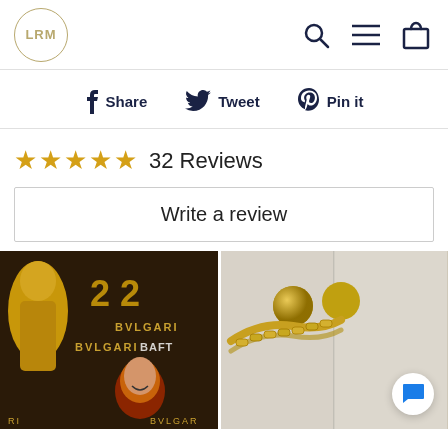LRM
Share  Tweet  Pin it
★★★★★ 32 Reviews
Write a review
[Figure (photo): Photo of a woman at a BVLGARI BAFTA event with a golden award statue visible, text '22' and 'BVLGARI' on backdrop]
[Figure (photo): Close-up photo of a gold chain necklace clasp against a light background, with a chat bubble icon overlay]